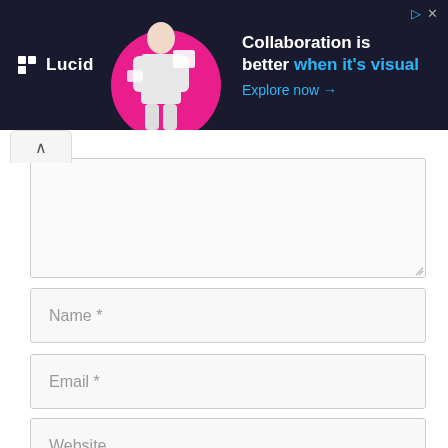[Figure (screenshot): Lucid advertisement banner: dark background with Lucid logo on left, woman with pink circle graphic in center, text 'Collaboration is better when it's visual' with 'Explore now →' link on right]
[Figure (screenshot): Website comment form with collapse tab (^), textarea input area, Name field, Email field, Website field, checkbox with label 'Save my name, email, and website in this browser for the next time I comment.', and partial submit button at bottom]